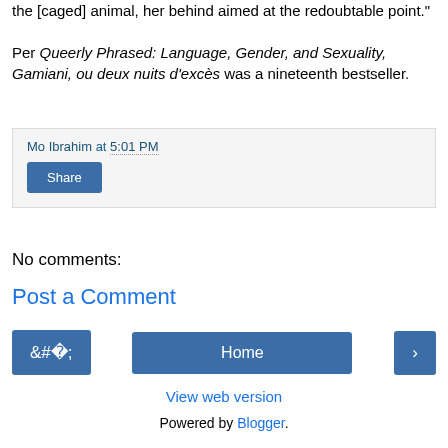the [caged] animal, her behind aimed at the redoubtable point."
Per Queerly Phrased: Language, Gender, and Sexuality, Gamiani, ou deux nuits d'excès was a nineteenth bestseller.
Mo Ibrahim at 5:01 PM
Share
No comments:
Post a Comment
‹
Home
›
View web version
Powered by Blogger.